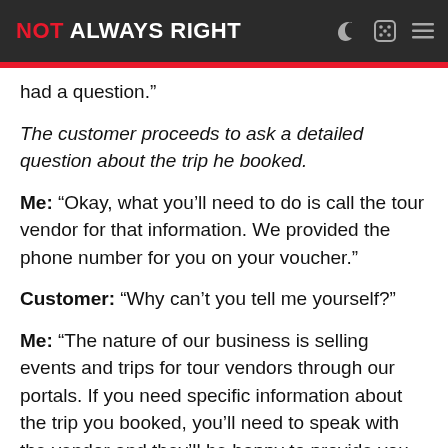NOT ALWAYS RIGHT
had a question.”
The customer proceeds to ask a detailed question about the trip he booked.
Me: “Okay, what you’ll need to do is call the tour vendor for that information. We provided the phone number for you on your voucher.”
Customer: “Why can’t you tell me yourself?”
Me: “The nature of our business is selling events and trips for tour vendors through our portals. If you need specific information about the trip you booked, you’ll need to speak with the vendor and they’ll be happy to provide you with all the information you need. Again, the number is on your voucher.”